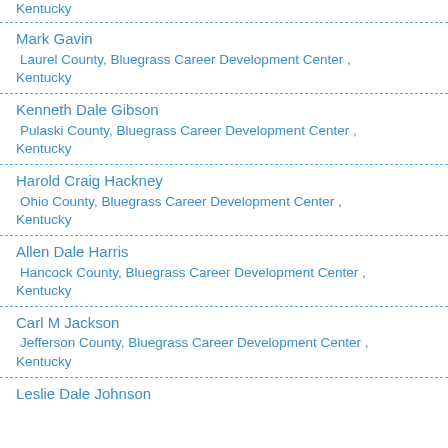Kentucky
Mark Gavin
Laurel County, Bluegrass Career Development Center , Kentucky
Kenneth Dale Gibson
Pulaski County, Bluegrass Career Development Center , Kentucky
Harold Craig Hackney
Ohio County, Bluegrass Career Development Center , Kentucky
Allen Dale Harris
Hancock County, Bluegrass Career Development Center , Kentucky
Carl M Jackson
Jefferson County, Bluegrass Career Development Center , Kentucky
Leslie Dale Johnson